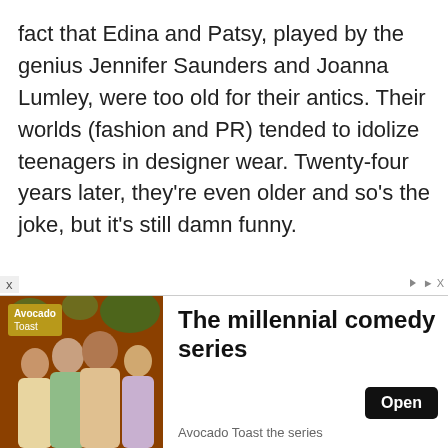fact that Edina and Patsy, played by the genius Jennifer Saunders and Joanna Lumley, were too old for their antics. Their worlds (fashion and PR) tended to idolize teenagers in designer wear. Twenty-four years later, they're even older and so's the joke, but it's still damn funny.
Comedies are among the hardest movies to review — which is why I haven't really done so — because it comes down to how much you laugh
[Figure (infographic): Advertisement banner for 'Avocado Toast the series' — a millennial comedy series. Brown background with group of people. Yellow-green logo in top-left reading 'Avocado Toast'. Text reads 'The millennial comedy series'. Black 'Open' button. Subtitle: 'Avocado Toast the series'. Close X button top-left, ad attribution arrow top-right.]